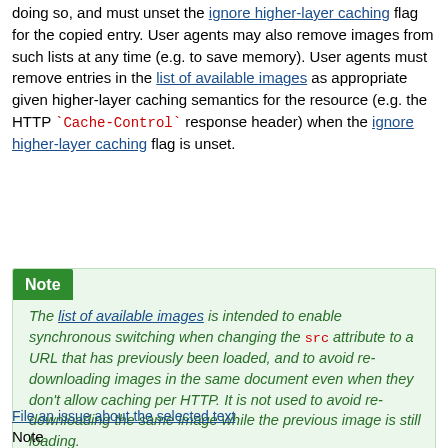doing so, and must unset the ignore higher-layer caching flag for the copied entry. User agents may also remove images from such lists at any time (e.g. to save memory). User agents must remove entries in the list of available images as appropriate given higher-layer caching semantics for the resource (e.g. the HTTP `Cache-Control` response header) when the ignore higher-layer caching flag is unset.
Note
The list of available images is intended to enable synchronous switching when changing the src attribute to a URL that has previously been loaded, and to avoid re-downloading images in the same document even when they don't allow caching per HTTP. It is not used to avoid re-downloading the same image while the previous image is still loading.
File an issue about the selected text
Note